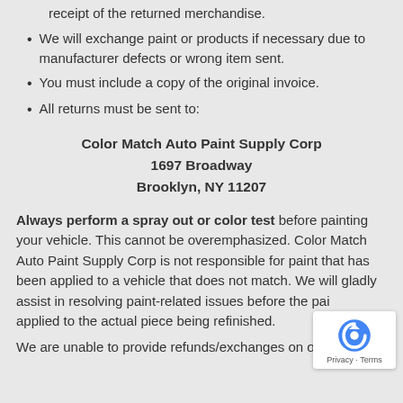receipt of the returned merchandise.
We will exchange paint or products if necessary due to manufacturer defects or wrong item sent.
You must include a copy of the original invoice.
All returns must be sent to:
Color Match Auto Paint Supply Corp
1697 Broadway
Brooklyn, NY 11207
Always perform a spray out or color test before painting your vehicle. This cannot be overemphasized. Color Match Auto Paint Supply Corp is not responsible for paint that has been applied to a vehicle that does not match. We will gladly assist in resolving paint-related issues before the paint is applied to the actual piece being refinished.
We are unable to provide refunds/exchanges on over 1885